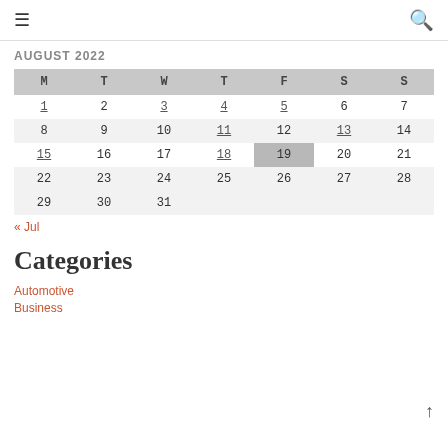≡  🔍
AUGUST 2022
| M | T | W | T | F | S | S |
| --- | --- | --- | --- | --- | --- | --- |
| 1 | 2 | 3 | 4 | 5 | 6 | 7 |
| 8 | 9 | 10 | 11 | 12 | 13 | 14 |
| 15 | 16 | 17 | 18 | 19 | 20 | 21 |
| 22 | 23 | 24 | 25 | 26 | 27 | 28 |
| 29 | 30 | 31 |  |  |  |  |
« Jul
Categories
Automotive
Business